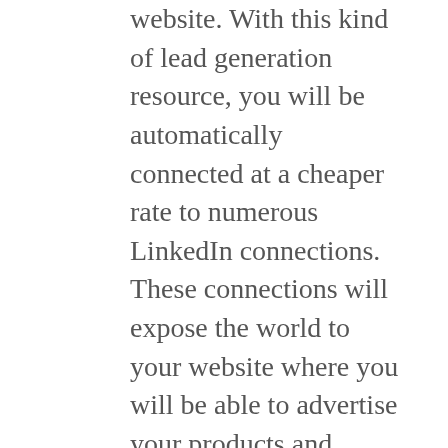website. With this kind of lead generation resource, you will be automatically connected at a cheaper rate to numerous LinkedIn connections. These connections will expose the world to your website where you will be able to advertise your products and services. Immediately the connected individuals start visiting your site, the others will get wondering and follow their example. You can never regret buying our package because your lists of employees, customers and peradventure potential employers will increase at a rapid rate.
Always remember that there is no easy or convenient time to establish the trust of keeping a reliable link with the most respected folks in your business. But you will be given